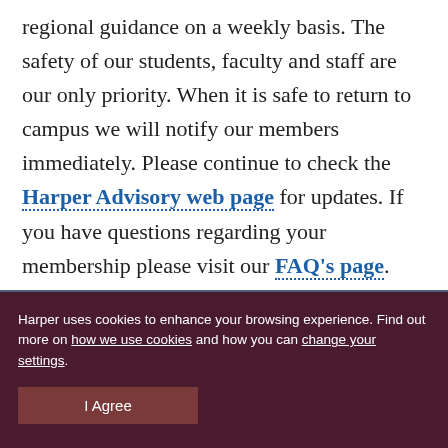regional guidance on a weekly basis. The safety of our students, faculty and staff are our only priority. When it is safe to return to campus we will notify our members immediately. Please continue to check the Harper Advisory web page for updates. If you have questions regarding your membership please visit our FAQ's page.
Harper uses cookies to enhance your browsing experience. Find out more on how we use cookies and how you can change your settings.
I Agree